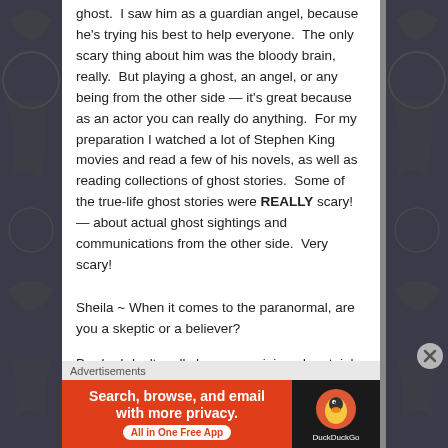ghost.  I saw him as a guardian angel, because he's trying his best to help everyone.  The only scary thing about him was the bloody brain, really.  But playing a ghost, an angel, or any being from the other side — it's great because as an actor you can really do anything.  For my preparation I watched a lot of Stephen King movies and read a few of his novels, as well as reading collections of ghost stories.  Some of the true-life ghost stories were REALLY scary! — about actual ghost sightings and communications from the other side.  Very scary!
Sheila ~ When it comes to the paranormal, are you a skeptic or a believer?
Brad ~ I don't really have an opinion.  I certainly don't
Advertisements
[Figure (other): DuckDuckGo advertisement banner: orange section with text 'Search, browse, and email with more privacy. All in One Free App' and dark section with DuckDuckGo logo and name.]